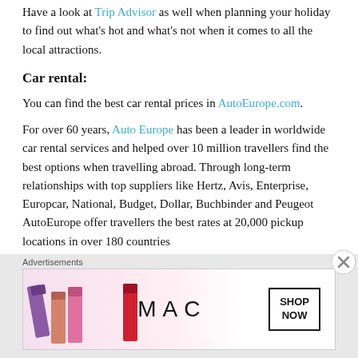Have a look at Trip Advisor as well when planning your holiday to find out what's hot and what's not when it comes to all the local attractions.
Car rental:
You can find the best car rental prices in AutoEurope.com.
For over 60 years, Auto Europe has been a leader in worldwide car rental services and helped over 10 million travellers find the best options when travelling abroad. Through long-term relationships with top suppliers like Hertz, Avis, Enterprise, Europcar, National, Budget, Dollar, Buchbinder and Peugeot AutoEurope offer travellers the best rates at 20,000 pickup locations in over 180 countries
[Figure (other): MAC cosmetics advertisement banner showing lipsticks in purple, peach, pink and red colors with MAC logo and SHOP NOW button]